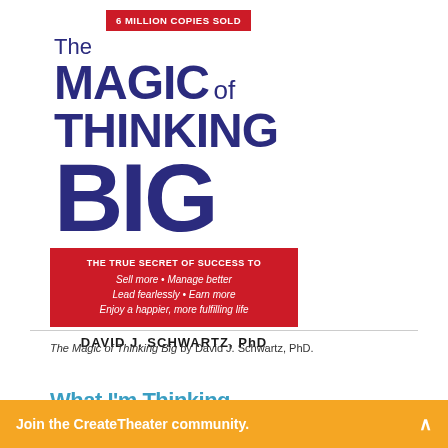[Figure (illustration): Book cover of 'The Magic of Thinking Big' by David J. Schwartz, PhD. Purple/dark blue title text on white background with red accent boxes. Badge reads '6 MILLION COPIES SOLD'. Red subtitle box reads 'THE TRUE SECRET OF SUCCESS TO: Sell more • Manage better, Lead fearlessly • Earn more, Enjoy a happier, more fulfilling life'. Author name at bottom.]
The Magic of Thinking Big by David J. Schwartz, PhD.
What I'm Thinking
Join the CreateTheater community.